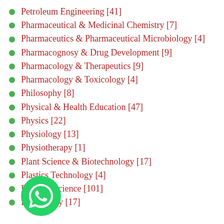Petroleum Engineering [41]
Pharmaceutical & Medicinal Chemistry [7]
Pharmaceutics & Pharmaceutical Microbiology [4]
Pharmacognosy & Drug Development [9]
Pharmacology & Therapeutics [9]
Pharmacology & Toxicology [4]
Philosophy [8]
Physical & Health Education [47]
Physics [22]
Physiology [13]
Physiotherapy [1]
Plant Science & Biotechnology [17]
Plastics Technology [4]
Political Science [101]
Psychology [17]